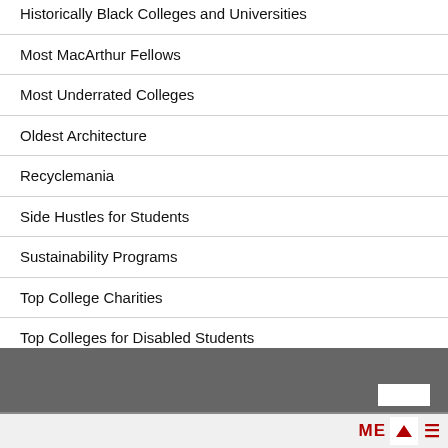Historically Black Colleges and Universities
Most MacArthur Fellows
Most Underrated Colleges
Oldest Architecture
Recyclemania
Side Hustles for Students
Sustainability Programs
Top College Charities
Top Colleges for Disabled Students
Top Recycling Colleges
ME ▲ ≡